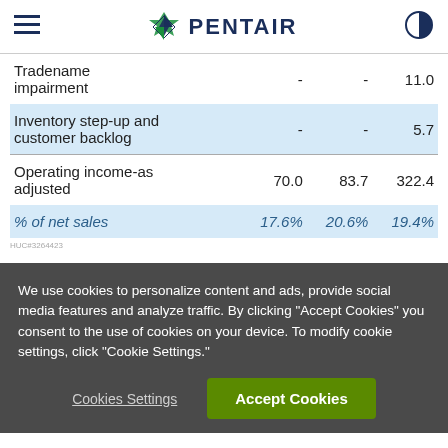PENTAIR
|  |  |  |  |
| --- | --- | --- | --- |
| Tradename impairment | - | - | 11.0 |
| Inventory step-up and customer backlog | - | - | 5.7 |
| Operating income-as adjusted | 70.0 | 83.7 | 322.4 |
| % of net sales | 17.6% | 20.6% | 19.4% |
We use cookies to personalize content and ads, provide social media features and analyze traffic. By clicking "Accept Cookies" you consent to the use of cookies on your device. To modify cookie settings, click "Cookie Settings."
Cookies Settings
Accept Cookies